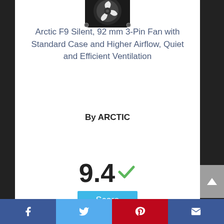[Figure (photo): Partial view of Arctic F9 Silent fan product image (black fan with white blades), cropped at top of page]
Arctic F9 Silent, 92 mm 3-Pin Fan with Standard Case and Higher Airflow, Quiet and Efficient Ventilation
By ARCTIC
View Product
9.4 Score